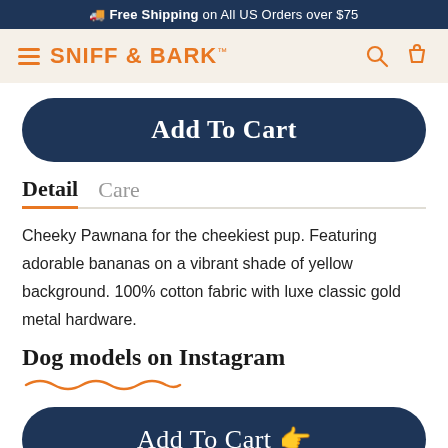🚚 Free Shipping on All US Orders over $75
[Figure (logo): Sniff & Bark logo with hamburger menu icon on cream background, search and bag icons on right]
Add To Cart
Detail   Care
Cheeky Pawnana for the cheekiest pup. Featuring adorable bananas on a vibrant shade of yellow background. 100% cotton fabric with luxe classic gold metal hardware.
Dog models on Instagram
Add To Cart 👉